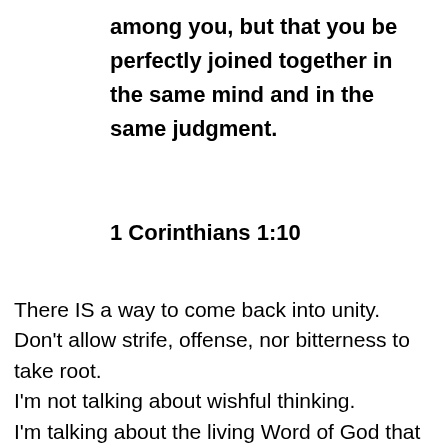among you, but that you be perfectly joined together in the same mind and in the same judgment.
1 Corinthians 1:10
There IS a way to come back into unity. Don't allow strife, offense, nor bitterness to take root. I'm not talking about wishful thinking. I'm talking about the living Word of God that can set hearts and minds right!